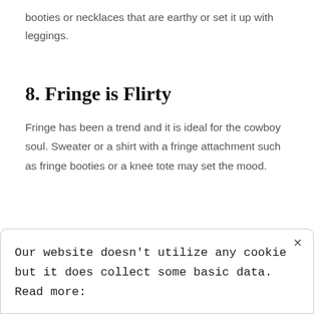booties or necklaces that are earthy or set it up with leggings.
8. Fringe is Flirty
Fringe has been a trend and it is ideal for the cowboy soul. Sweater or a shirt with a fringe attachment such as fringe booties or a knee tote may set the mood.
Our website doesn't utilize any cookie but it does collect some basic data. Read more: